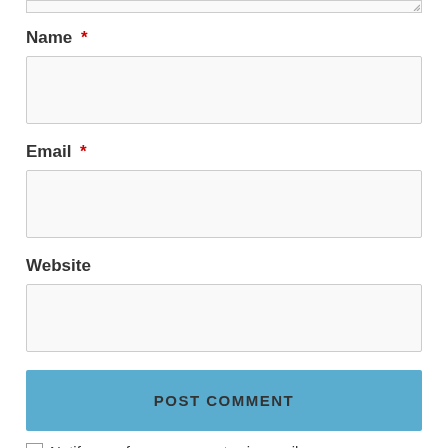[Figure (screenshot): Top portion of a comment form textarea (cropped), with resize handle at bottom right corner]
Name *
[Figure (screenshot): Empty text input box for Name field]
Email *
[Figure (screenshot): Empty text input box for Email field]
Website
[Figure (screenshot): Empty text input box for Website field]
[Figure (screenshot): POST COMMENT blue submit button]
Notify me of new comments via email